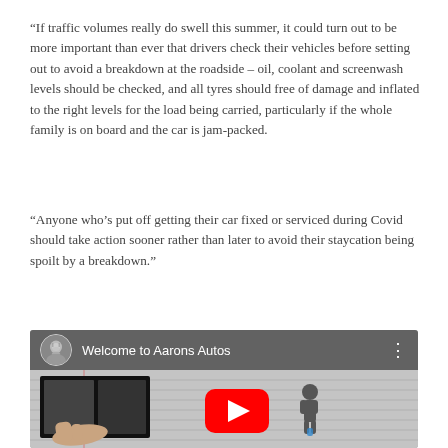“If traffic volumes really do swell this summer, it could turn out to be more important than ever that drivers check their vehicles before setting out to avoid a breakdown at the roadside – oil, coolant and screenwash levels should be checked, and all tyres should free of damage and inflated to the right levels for the load being carried, particularly if the whole family is on board and the car is jam-packed.
“Anyone who’s put off getting their car fixed or serviced during Covid should take action sooner rather than later to avoid their staycation being spoilt by a breakdown.”
[Figure (screenshot): YouTube video thumbnail showing 'Welcome to Aarons Autos' with a circular avatar of a bearded man, video title text, three-dot menu icon, and a YouTube play button overlaid on a scene with a black box, a hand, and a small figure.]